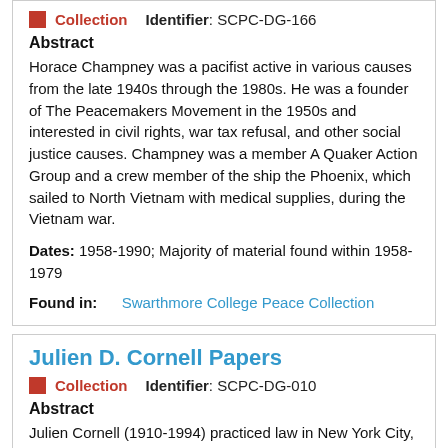Collection   Identifier: SCPC-DG-166
Abstract
Horace Champney was a pacifist active in various causes from the late 1940s through the 1980s. He was a founder of The Peacemakers Movement in the 1950s and interested in civil rights, war tax refusal, and other social justice causes. Champney was a member A Quaker Action Group and a crew member of the ship the Phoenix, which sailed to North Vietnam with medical supplies, during the Vietnam war.
Dates: 1958-1990; Majority of material found within 1958-1979
Found in:   Swarthmore College Peace Collection
Julien D. Cornell Papers
Collection   Identifier: SCPC-DG-010
Abstract
Julien Cornell (1910-1994) practiced law in New York City, with a special interest in civil liberties. During World War II, he handled many cases for conscientious objectors, as well as advising...